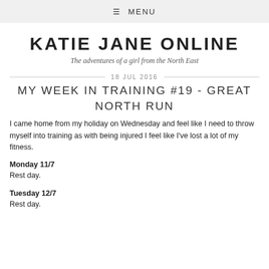≡ MENU
KATIE JANE ONLINE
The adventures of a girl from the North East
18 JUL 2016
MY WEEK IN TRAINING #19 - GREAT NORTH RUN
I came home from my holiday on Wednesday and feel like I need to throw myself into training as with being injured I feel like I've lost a lot of my fitness.
Monday 11/7
Rest day.
Tuesday 12/7
Rest day.